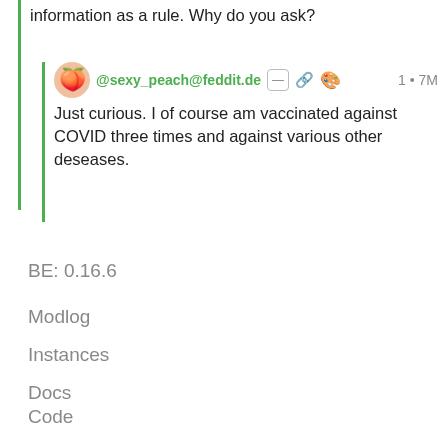information as a rule. Why do you ask?
@sexy_peach@feddit.de  1 • 7M
Just curious. I of course am vaccinated against COVID three times and against various other deseases.
BE: 0.16.6
Modlog
Instances
Docs
Code
Join Lemmy